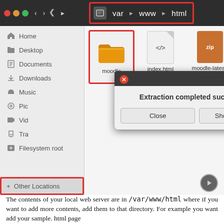[Figure (screenshot): Ubuntu file manager (Nautilus) screenshot showing /var/www/html directory with moodle folder highlighted in red border. Breadcrumb bar at top shows 'var > www > html' highlighted in red. File area shows moodle folder (highlighted), index.html, and moodle-latest-32.zip. A dialog box shows 'Extraction completed successfully' with Close and Show the Files buttons. Sidebar shows Home, Desktop, Documents, Downloads, Music, Pictures, Videos, Trash, Filesystem root, and Other Locations (highlighted in red). A play button icon is visible at bottom right.]
The contents of your local web server are in /var/www/html where if you want to add more contents, add them to that directory. For example you want add your sample. html page